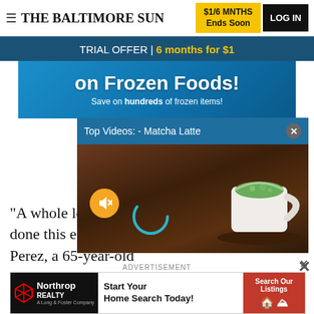THE BALTIMORE SUN | $1/6 MNTHS Ends Soon | LOG IN
TRIAL OFFER | 6 months for $1
[Figure (screenshot): Frozen Foods advertisement with blue background: 'on Frozen Foods! Save on hundreds of frozen items!']
[Figure (screenshot): Video overlay titled 'Top Videos: - Matcha Latte' showing a cup of matcha latte on a wooden table, with mute button and loading spinner visible]
"A whole lot of the g done this earlier," sai Perez, a 65-year-old and Vietnam.
"What they're saying is now this Hussein's burning
ADVERTISEMENT
[Figure (screenshot): Northrop Realty advertisement: 'Start Your Home Search Today!' with 'Search Our Listings' button. A Long & Foster Company.]